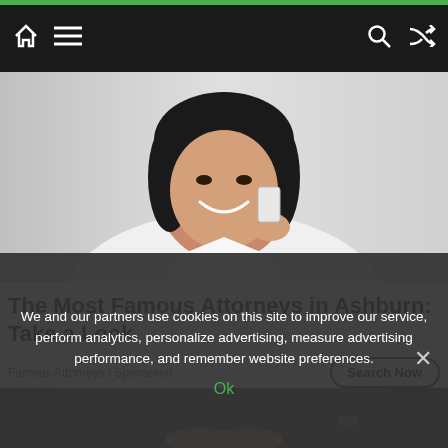Navigation bar with home, menu, search, shuffle icons
[Figure (photo): Woman smiling, holding phone to her chin, wearing white collared shirt, against light grey background]
The Most Famous Attorneys in Ashburn: Take a Look
Famous Attorneys | Sponsored
[Figure (photo): Person in dark grey jacket with arms crossed, partial view from chest down]
We and our partners use cookies on this site to improve our service, perform analytics, personalize advertising, measure advertising performance, and remember website preferences.
Ok